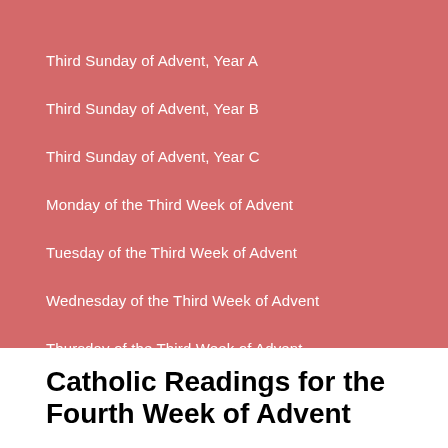Third Sunday of Advent, Year A
Third Sunday of Advent, Year B
Third Sunday of Advent, Year C
Monday of the Third Week of Advent
Tuesday of the Third Week of Advent
Wednesday of the Third Week of Advent
Thursday of the Third Week of Advent
Friday of the Third Week of Advent
Catholic Readings for the Fourth Week of Advent